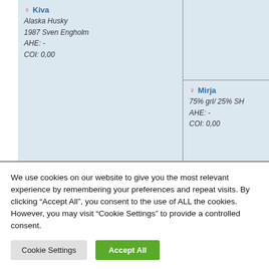[Figure (other): Pedigree chart showing two dog entries. Left cell: female dog named Kiva, Alaska Husky, 1987 Sven Engholm, AHE: -, COI: 0,00. Right bottom cell: female dog named Mirja, 75% grl/ 25% SH, AHE: -, COI: 0,00.]
We use cookies on our website to give you the most relevant experience by remembering your preferences and repeat visits. By clicking "Accept All", you consent to the use of ALL the cookies. However, you may visit "Cookie Settings" to provide a controlled consent.